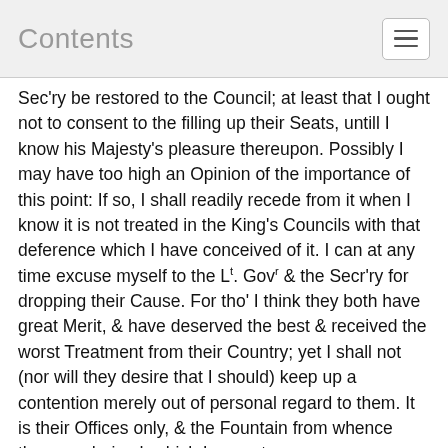Contents
Sec'ry be restored to the Council; at least that I ought not to consent to the filling up their Seats, untill I know his Majesty's pleasure thereupon. Possibly I may have too high an Opinion of the importance of this point: If so, I shall readily recede from it when I know it is not treated in the King's Councils with that deference which I have conceived of it. I can at any time excuse myself to the Lt. Govr & the Secr'ry for dropping their Cause. For tho' I think they both have great Merit, & have deserved the best & received the worst Treatment from their Country; yet I shall not (nor will they desire that I should) keep up a contention merely out of personal regard to them. It is their Offices only, & the Fountain from whence they are derived, which I mean to